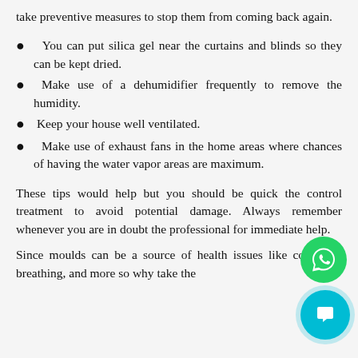take preventive measures to stop them from coming back again.
You can put silica gel near the curtains and blinds so they can be kept dried.
Make use of a dehumidifier frequently to remove the humidity.
Keep your house well ventilated.
Make use of exhaust fans in the home areas where chances of having the water vapor areas are maximum.
These tips would help but you should be quick the control treatment to avoid potential damage. Always remember whenever you are in doubt the professional for immediate help.
Since moulds can be a source of health issues like coughing, breathing, and more so why take the